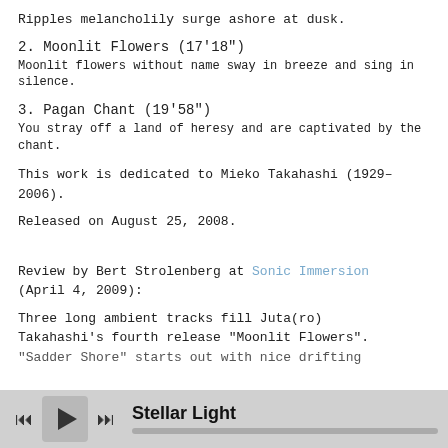Ripples melancholily surge ashore at dusk.
2. Moonlit Flowers (17'18")
Moonlit flowers without name sway in breeze and sing in silence.
3. Pagan Chant (19'58")
You stray off a land of heresy and are captivated by the chant.
This work is dedicated to Mieko Takahashi (1929–2006).
Released on August 25, 2008.
Review by Bert Strolenberg at Sonic Immersion (April 4, 2009):
Three long ambient tracks fill Juta(ro) Takahashi's fourth release "Moonlit Flowers". "Sadder Shore" starts out with nice drifting
Stellar Light